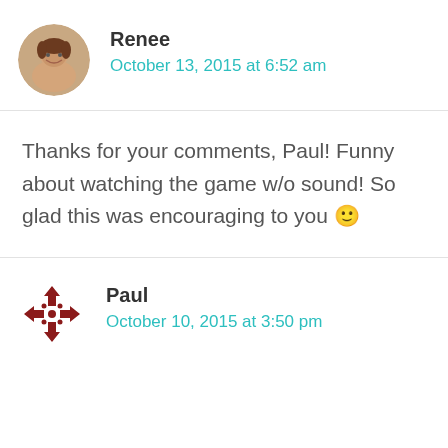[Figure (photo): Circular avatar photo of Renee, a woman smiling]
Renee
October 13, 2015 at 6:52 am
Thanks for your comments, Paul! Funny about watching the game w/o sound! So glad this was encouraging to you 🙂
[Figure (logo): Circular logo with dark red arrow/chevron pattern for Paul]
Paul
October 10, 2015 at 3:50 pm